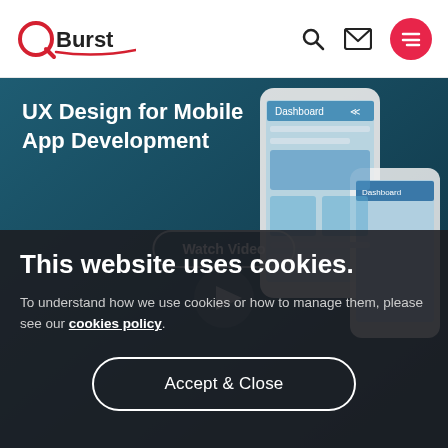QBurst
[Figure (screenshot): QBurst website header with logo, search icon, mail icon, and red menu button]
UX Design for Mobile App Development
[Figure (screenshot): Mobile app dashboard UI mockup shown on a smartphone in a teal/dark blue hero banner]
This website uses cookies.
To understand how we use cookies or how to manage them, please see our cookies policy.
Accept & Close